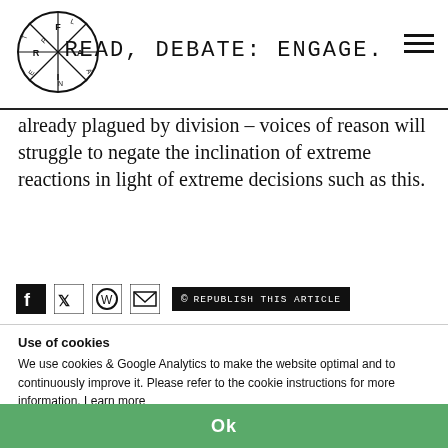READ, DEBATE: ENGAGE.
already plagued by division – voices of reason will struggle to negate the inclination of extreme reactions in light of extreme decisions such as this.
REPUBLISH THIS ARTICLE
DONATE TO FAIRPLANET
Support our journalism, activism and global equal pay policy!
Use of cookies
We use cookies & Google Analytics to make the website optimal and to continuously improve it. Please refer to the cookie instructions for more information. Learn more
Ok